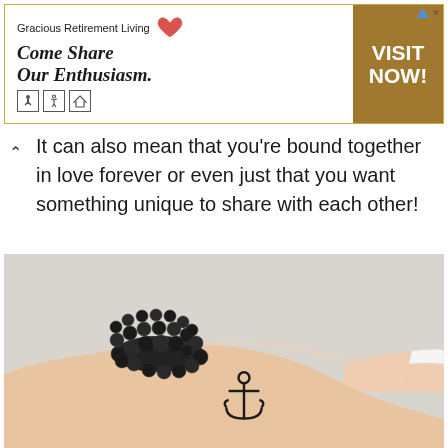[Figure (other): Advertisement banner for Gracious Retirement Living with tagline 'Come Share Our Enthusiasm.' and 'VISIT NOW!' call-to-action button in gold/brown.]
It can also mean that you're bound together in love forever or even just that you want something unique to share with each other!
[Figure (photo): Close-up photo of a person's wrist and hand wearing dark beaded bracelets with a small anchor tattoo on the inner wrist. The hand has white painted nails and is touching another surface.]